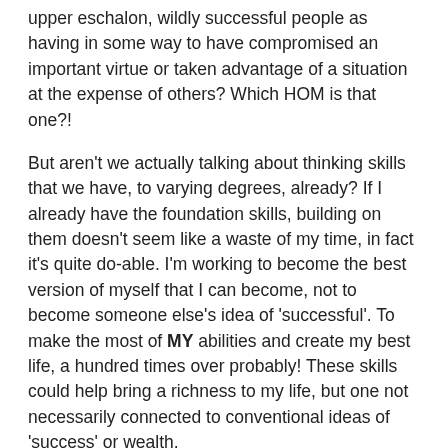upper eschalon, wildly successful people as having in some way to have compromised an important virtue or taken advantage of a situation at the expense of others? Which HOM is that one?!
But aren't we actually talking about thinking skills that we have, to varying degrees, already? If I already have the foundation skills, building on them doesn't seem like a waste of my time, in fact it's quite do-able. I'm working to become the best version of myself that I can become, not to become someone else's idea of 'successful'. To make the most of MY abilities and create my best life, a hundred times over probably! These skills could help bring a richness to my life, but one not necessarily connected to conventional ideas of 'success' or wealth.